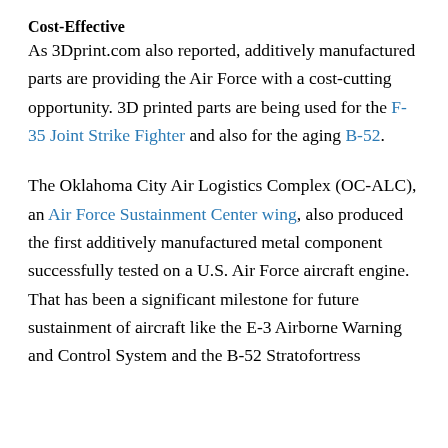Cost-Effective
As 3Dprint.com also reported, additively manufactured parts are providing the Air Force with a cost-cutting opportunity. 3D printed parts are being used for the F-35 Joint Strike Fighter and also for the aging B-52.
The Oklahoma City Air Logistics Complex (OC-ALC), an Air Force Sustainment Center wing, also produced the first additively manufactured metal component successfully tested on a U.S. Air Force aircraft engine. That has been a significant milestone for future sustainment of aircraft like the E-3 Airborne Warning and Control System and the B-52 Stratofortress